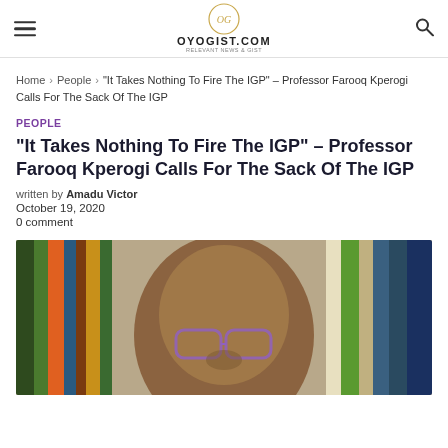OYOGIST.COM
Home > People > “It Takes Nothing To Fire The IGP” – Professor Farooq Kperogi Calls For The Sack Of The IGP
PEOPLE
“It Takes Nothing To Fire The IGP” – Professor Farooq Kperogi Calls For The Sack Of The IGP
written by Amadu Victor
October 19, 2020
0 comment
[Figure (photo): Photo of Professor Farooq Kperogi wearing glasses, with bookshelf visible in background showing various book spines in multiple colors]